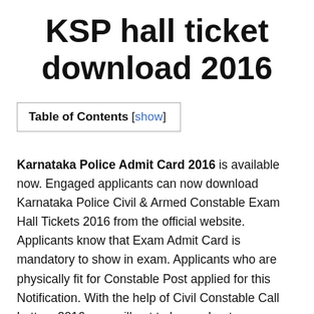KSP hall ticket download 2016
Table of Contents [show]
Karnataka Police Admit Card 2016 is available now. Engaged applicants can now download Karnataka Police Civil & Armed Constable Exam Hall Tickets 2016 from the official website. Applicants know that Exam Admit Card is mandatory to show in exam. Applicants who are physically fit for Constable Post applied for this Notification. With the help of Civil Constable Call Letters 2016, you will get to know about your exam centers. Karnataka State Police Department